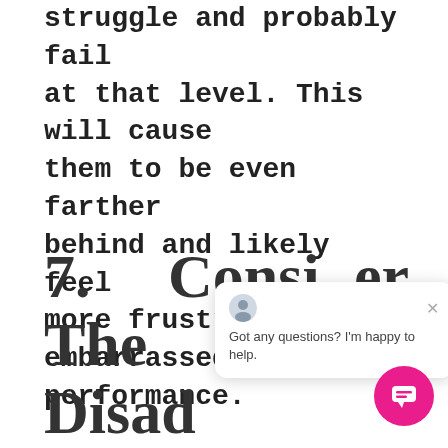struggle and probably fail at that level. This will cause them to be even farther behind and likely feel more frustrated or embarrassed by their performance.
7.     Consider The Disadvantages Of Retention.
[Figure (other): Chat popup widget with avatar icon, close button, and message 'Got any questions? I'm happy to help.' with a pink circular chat button in the bottom right]